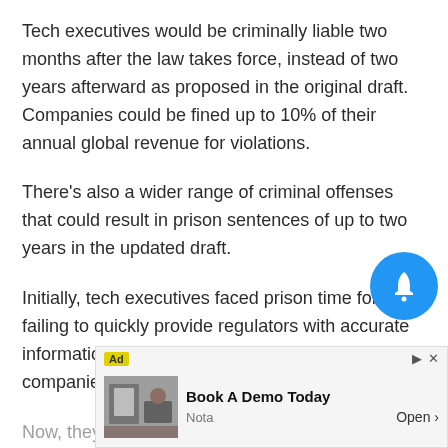Tech executives would be criminally liable two months after the law takes force, instead of two years afterward as proposed in the original draft. Companies could be fined up to 10% of their annual global revenue for violations.
There's also a wider range of criminal offenses that could result in prison sentences of up to two years in the updated draft.
Initially, tech executives faced prison time for failing to quickly provide regulators with accurate information needed to assess whether their companies are complying with the rules.
Now, they would also face it for suppressing, destroy altering information requested or not cooperating with regulators compan